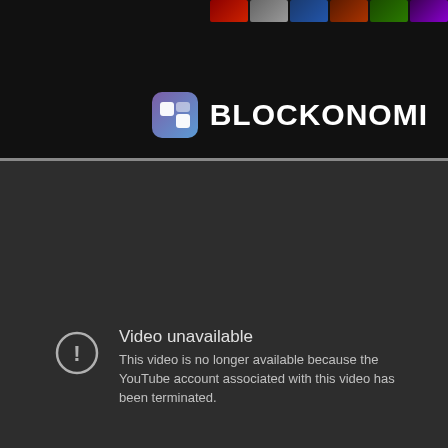[Figure (screenshot): Top banner with game thumbnails on the right and Blockonomi logo (blue/purple gradient icon + bold text 'BLOCKONOMI') centered-right on a dark background.]
[Figure (screenshot): Dark gray YouTube video player showing 'Video unavailable' error. A circle with exclamation mark icon appears on the left. Text reads: 'Video unavailable' followed by 'This video is no longer available because the YouTube account associated with this video has been terminated.']
Video unavailable
This video is no longer available because the YouTube account associated with this video has been terminated.